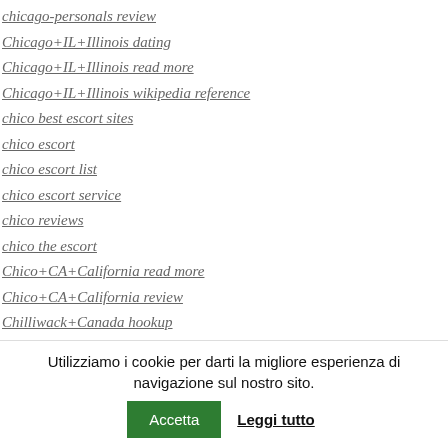chicago-personals review
Chicago+IL+Illinois dating
Chicago+IL+Illinois read more
Chicago+IL+Illinois wikipedia reference
chico best escort sites
chico escort
chico escort list
chico escort service
chico reviews
chico the escort
Chico+CA+California read more
Chico+CA+California review
Chilliwack+Canada hookup
Chilliwack+Canada hookup sites
Chilliwack+Canada review
Chilliwack+Canada wikipedia reference
Utilizziamo i cookie per darti la migliore esperienza di navigazione sul nostro sito. Accetta  Leggi tutto